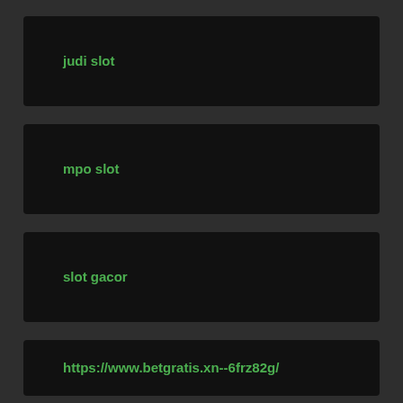judi slot
mpo slot
slot gacor
https://www.betgratis.xn--6frz82g/